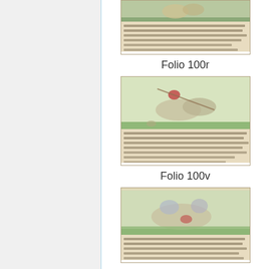[Figure (illustration): Medieval manuscript folio 100r showing illuminated illustration of figures on horseback with handwritten text below, partial view at top of page]
Folio 100r
[Figure (illustration): Medieval manuscript folio 100v showing illuminated illustration of two armored knights jousting on horseback with handwritten Gothic script text below]
Folio 100v
[Figure (illustration): Medieval manuscript folio showing illuminated illustration of knights on horseback in combat scene with handwritten Gothic script text below, partial view at bottom of page]